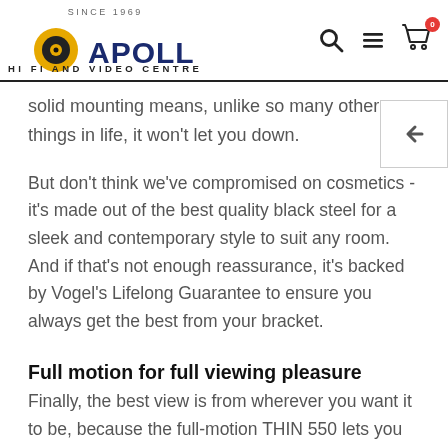SINCE 1969 — APOLLO HI FI AND VIDEO CENTRE
solid mounting means, unlike so many other things in life, it won't let you down.
But don't think we've compromised on cosmetics - it's made out of the best quality black steel for a sleek and contemporary style to suit any room. And if that's not enough reassurance, it's backed by Vogel's Lifelong Guarantee to ensure you always get the best from your bracket.
Full motion for full viewing pleasure
Finally, the best view is from wherever you want it to be, because the full-motion THIN 550 lets you turn